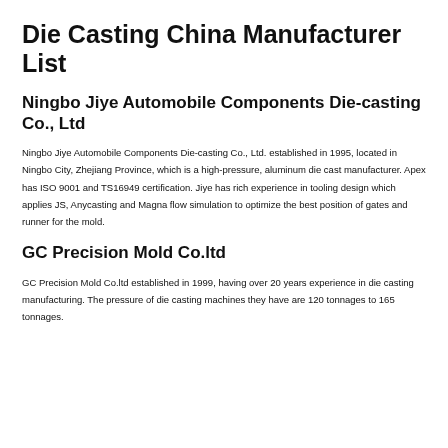Die Casting China Manufacturer List
Ningbo Jiye Automobile Components Die-casting Co., Ltd
Ningbo Jiye Automobile Components Die-casting Co., Ltd. established in 1995, located in Ningbo City, Zhejiang Province, which is a high-pressure, aluminum die cast manufacturer. Apex has ISO 9001 and TS16949 certification. Jiye has rich experience in tooling design which applies JS, Anycasting and Magna flow simulation to optimize the best position of gates and runner for the mold.
GC Precision Mold Co.ltd
GC Precision Mold Co.ltd established in 1999, having over 20 years experience in die casting manufacturing. The pressure of die casting machines they have are 120 tonnages to 165 tonnages.